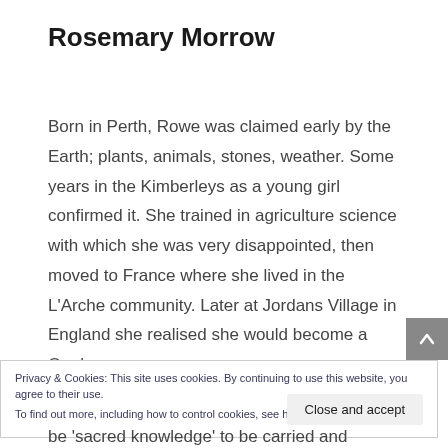Rosemary Morrow
Born in Perth, Rowe was claimed early by the Earth; plants, animals, stones, weather. Some years in the Kimberleys as a young girl confirmed it. She trained in agriculture science with which she was very disappointed, then moved to France where she lived in the L'Arche community. Later at Jordans Village in England she realised she would become a Quaker.
Privacy & Cookies: This site uses cookies. By continuing to use this website, you agree to their use.
To find out more, including how to control cookies, see here: Cookie Policy
be 'sacred knowledge' to be carried and shared